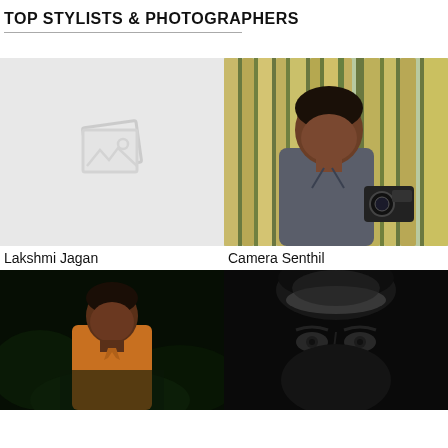TOP STYLISTS & PHOTOGRAPHERS
[Figure (photo): Placeholder image icon for Lakshmi Jagan — grey background with image placeholder icon]
[Figure (photo): Photo of Camera Senthil, a man in grey shirt holding a camera, standing in front of bamboo]
Lakshmi Jagan
Camera Senthil
[Figure (photo): Photo of a man in orange shirt standing outdoors at night with dark green foliage background]
[Figure (photo): Black and white close-up photo of a man's face partially lit from above]